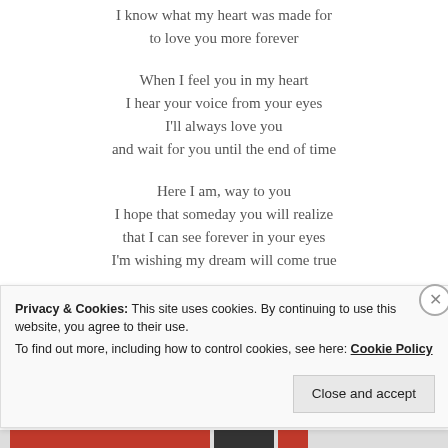I know what my heart was made for
to love you more forever
When I feel you in my heart
I hear your voice from your eyes
I'll always love you
and wait for you until the end of time
Here I am, way to you
I hope that someday you will realize
that I can see forever in your eyes
I'm wishing my dream will come true
Privacy & Cookies: This site uses cookies. By continuing to use this website, you agree to their use.
To find out more, including how to control cookies, see here: Cookie Policy
Close and accept